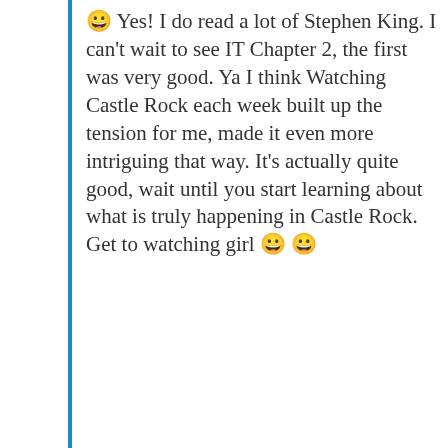😀 Yes! I do read a lot of Stephen King. I can't wait to see IT Chapter 2, the first was very good. Ya I think Watching Castle Rock each week built up the tension for me, made it even more intriguing that way. It's actually quite good, wait until you start learning about what is truly happening in Castle Rock. Get to watching girl 😀 😀
★ Liked by 1 person
REPLY
Privacy & Cookies: This site uses cookies. By continuing to use this website, you agree to their use. To find out more, including how to control cookies, see here: Cookie Policy
Close and accept